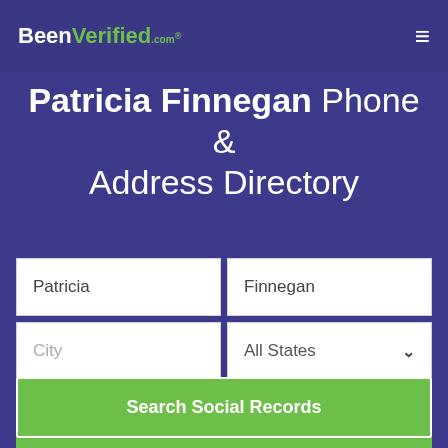BeenVerified.com
Patricia Finnegan Phone & Address Directory
Patricia | Finnegan
City | All States
SEARCH
Search Social Records